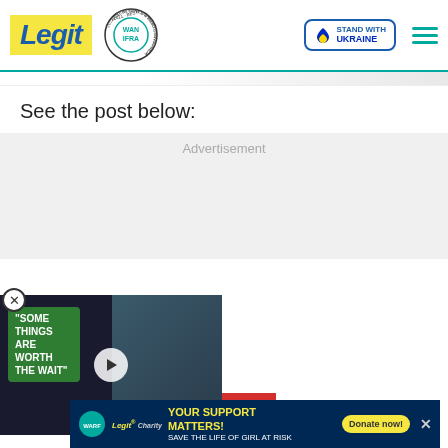Legit — WAN IFRA 2021 Best News Website in Africa — Stand with Ukraine
See the post below:
[Figure (other): Advertisement placeholder area — grey background]
[Figure (other): Video thumbnail showing two people (red-haired woman and man in tuxedo) with green speech bubble overlay reading SOME THINGS ARE WORTH THE WAIT, and a play button]
[Figure (other): Charity banner: YOUR SUPPORT MATTERS! SAVE THE LIFE OF GIRL AT RISK — Donate now! button — Legit Charity / WARF logos]